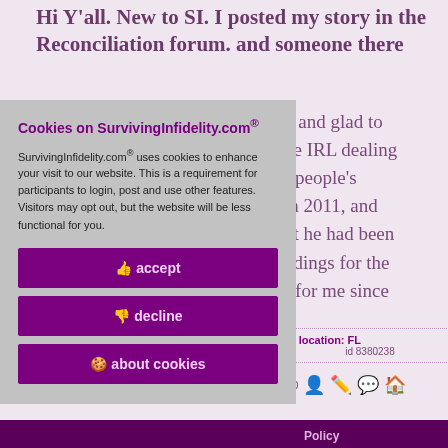Hi Y'all. New to SI. I posted my story in the Reconciliation forum. and someone there
y and glad to
ne IRL dealing
r people's
in 2011, and
ut he had been
ndings for the
r for me since
Cookies on SurvivingInfidelity.com®
SurvivingInfidelity.com® uses cookies to enhance your visit to our website. This is a requirement for participants to login, post and use other features. Visitors may opt out, but the website will be less functional for you.
👍 accept
👎 decline
🍪 about cookies
location: FL
id 8380238
:40
Policy